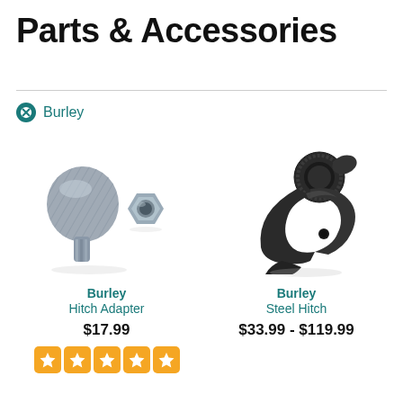Parts & Accessories
Burley
[Figure (photo): Burley Hitch Adapter — a knurled metal thumb nut/adapter piece and a steel hex nut, on white background]
Burley
Hitch Adapter
$17.99
[Figure (illustration): Five orange star rating icons]
[Figure (photo): Burley Steel Hitch — a black steel hook/hitch bracket, on white background]
Burley
Steel Hitch
$33.99 - $119.99